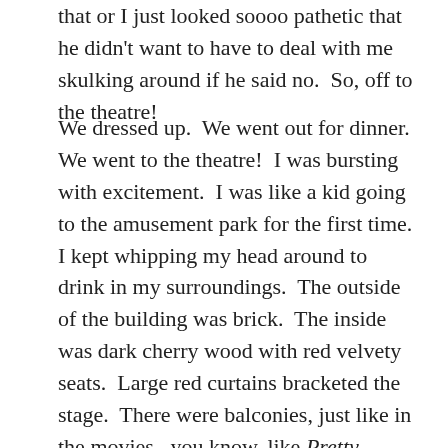that or I just looked soooo pathetic that he didn't want to have to deal with me skulking around if he said no.  So, off to the theatre!
We dressed up.  We went out for dinner.  We went to the theatre!  I was bursting with excitement.  I was like a kid going to the amusement park for the first time.  I kept whipping my head around to drink in my surroundings.  The outside of the building was brick.  The inside was dark cherry wood with red velvety seats.  Large red curtains bracketed the stage.  There were balconies, just like in the movies...you know, like Pretty Woman when she goes to the opera.  Yes, I was over excited and overwhelmed and beyond happy to be there.  Then, the little ding ding, to tell everyone to have a seat as the show was about the begin.  I held my breath with anticipation.